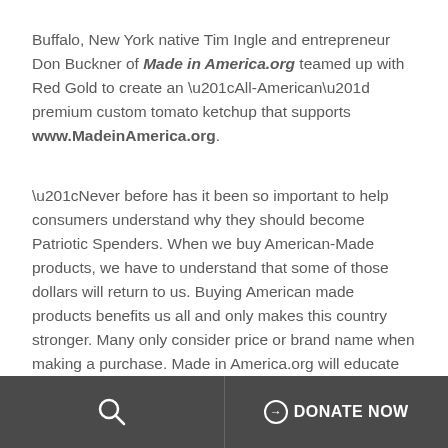Buffalo, New York native Tim Ingle and entrepreneur Don Buckner of Made in America.org teamed up with Red Gold to create an “All-American” premium custom tomato ketchup that supports www.MadeinAmerica.org.
“Never before has it been so important to help consumers understand why they should become Patriotic Spenders. When we buy American-Made products, we have to understand that some of those dollars will return to us. Buying American made products benefits us all and only makes this country stronger. Many only consider price or brand name when making a purchase. Made in America.org will educate consumers on why they must also consider the country...
DONATE NOW